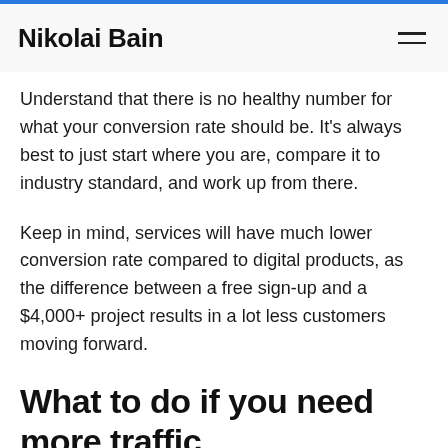Nikolai Bain
Understand that there is no healthy number for what your conversion rate should be. It's always best to just start where you are, compare it to industry standard, and work up from there.
Keep in mind, services will have much lower conversion rate compared to digital products, as the difference between a free sign-up and a $4,000+ project results in a lot less customers moving forward.
What to do if you need more traffic
Despite any reservations you have about traffic when